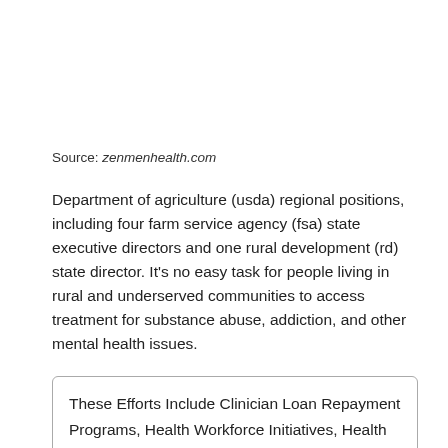Source: zenmenhealth.com
Department of agriculture (usda) regional positions, including four farm service agency (fsa) state executive directors and one rural development (rd) state director. It’s no easy task for people living in rural and underserved communities to access treatment for substance abuse, addiction, and other mental health issues.
These Efforts Include Clinician Loan Repayment Programs, Health Workforce Initiatives, Health Professional Shortage Area Designations, Education And.
Building Upon The Stronger Rural Health Strategy.